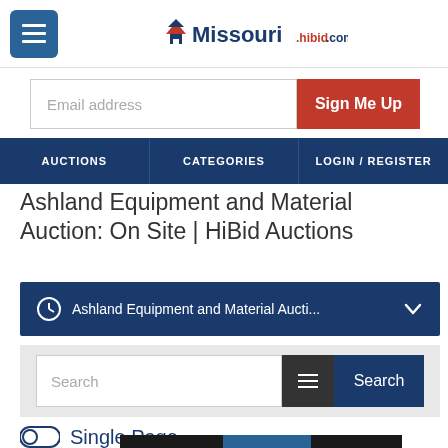[Figure (logo): Missouri HiBid.com logo with house icon, Missouri in dark blue, hibid.com in red/blue text]
[Figure (screenshot): Email address input field with Sign Me Up red button]
AUCTIONS | CATEGORIES | LOGIN/REGISTER
Ashland Equipment and Material Auction: On Site | HiBid Auctions
Ashland Equipment and Material Aucti...
Search
Single Page
Condensed  Tile View  Full View